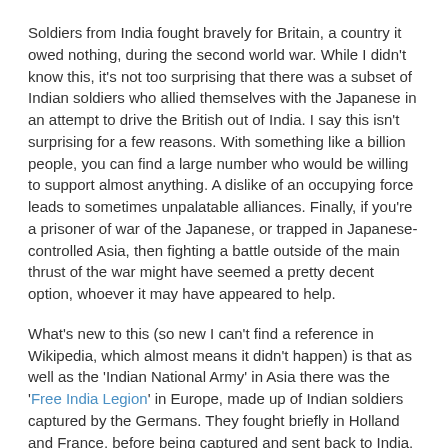Soldiers from India fought bravely for Britain, a country it owed nothing, during the second world war. While I didn't know this, it's not too surprising that there was a subset of Indian soldiers who allied themselves with the Japanese in an attempt to drive the British out of India. I say this isn't surprising for a few reasons. With something like a billion people, you can find a large number who would be willing to support almost anything. A dislike of an occupying force leads to sometimes unpalatable alliances. Finally, if you're a prisoner of war of the Japanese, or trapped in Japanese-controlled Asia, then fighting a battle outside of the main thrust of the war might have seemed a pretty decent option, whoever it may have appeared to help.
What's new to this (so new I can't find a reference in Wikipedia, which almost means it didn't happen) is that as well as the 'Indian National Army' in Asia there was the 'Free India Legion' in Europe, made up of Indian soldiers captured by the Germans. They fought briefly in Holland and France, before being captured and sent back to India. The FIL was founded by Subhas Chandra Bose, who, after seeing that Hitler really wasn't a stand-up kind of guy, went to Japan to found the INA.